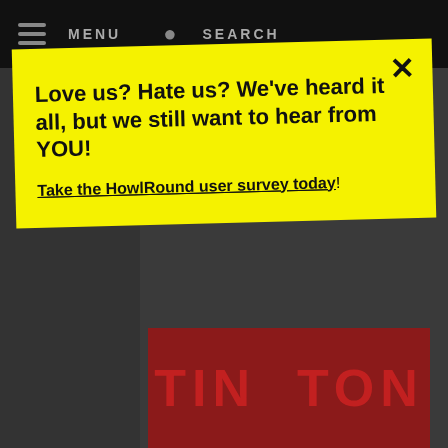MENU  SEARCH
Love us? Hate us? We've heard it all, but we still want to hear from YOU!
Take the HowlRound user survey today!
created about dementia using ideas from Kantor's Theatre of Death.
[Figure (photo): Partial text image at bottom showing large red letters, likely a theatrical poster or title card]